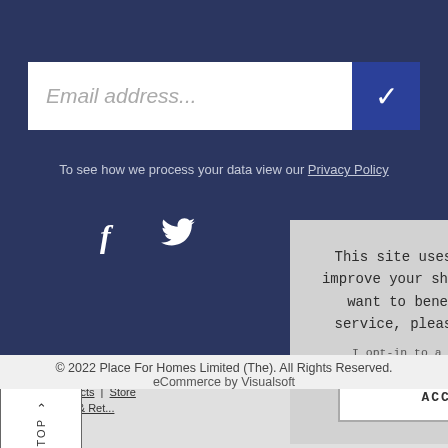Email address...
To see how we process your data view our Privacy Policy
[Figure (other): Social media icons: Facebook (f) and Twitter bird]
New Products  |  Store  |  Delivery & Retu...
[Figure (other): TOP button with upward caret arrow]
This site uses cookies to provide and improve your shopping experience. If you want to benefit from this improved service, please opt-in. Cookies Page.
I opt-in to a better browsing experience
ACCEPT COOKIES
© 2022 Place For Homes Limited (The). All Rights Reserved.
eCommerce by Visualsoft